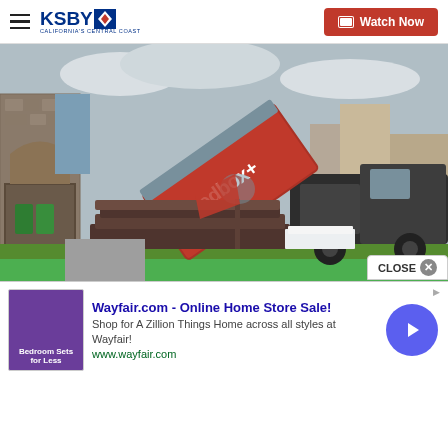KSBY California's Central Coast — Watch Now
[Figure (photo): A red redbox+ dumpster being lifted off a truck in front of a residential home. Wood materials and white boxes are stacked on the lawn. A garage with green trash cans is visible in the background.]
The Days Of Shingles Are Over. See Why Metal Roofing Is So Affordable And Popular...
[Figure (screenshot): Wayfair.com advertisement: 'Wayfair.com - Online Home Store Sale!' with description 'Shop for A Zillion Things Home across all styles at Wayfair!' and URL www.wayfair.com. Shows a purple bedroom sets advertisement image on left. A close button appears at top right with a circular arrow button.]